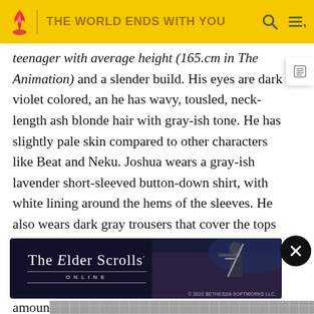THE WORLD ENDS WITH YOU
teenager with average height (165.cm in The Animation) and a slender build. His eyes are dark violet colored, and he has wavy, tousled, neck-length ash blonde hair with gray-ish tone. He has slightly pale skin compared to other characters like Beat and Neku. Joshua wears a gray-ish lavender short-sleeved button-down shirt, with white lining around the hems of the sleeves. He also wears dark gray trousers that cover the tops of his white sneakers with black laces and soles. His shirt is losely unbuttoned at the neck and the low hem of the shirt. Due to the amount... ear a bit too... e may look weak or fragile, as he described him as a "pispqueak" when he meet him for the first time.[1]
[Figure (screenshot): The Elder Scrolls Online advertisement banner with dark background, game logo in white serif text, and game imagery on the right side. Copyright 2022 Bethesda Softworks LLC.]